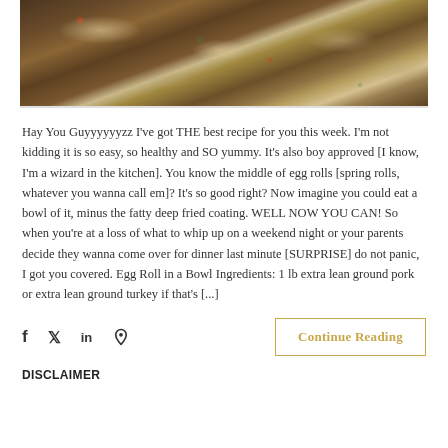[Figure (photo): Close-up photo of a bowl of egg roll in a bowl dish — stir-fried ground meat with cabbage, vegetables, and sliced almonds on top, in a white bowl.]
Hay You Guyyyyyyzz I've got THE best recipe for you this week. I'm not kidding it is so easy, so healthy and SO yummy. It's also boy approved [I know, I'm a wizard in the kitchen]. You know the middle of egg rolls [spring rolls, whatever you wanna call em]? It's so good right? Now imagine you could eat a bowl of it, minus the fatty deep fried coating. WELL NOW YOU CAN! So when you're at a loss of what to whip up on a weekend night or your parents decide they wanna come over for dinner last minute [SURPRISE] do not panic, I got you covered. Egg Roll in a Bowl Ingredients: 1 lb extra lean ground pork or extra lean ground turkey if that's [...]
Continue Reading
DISCLAIMER